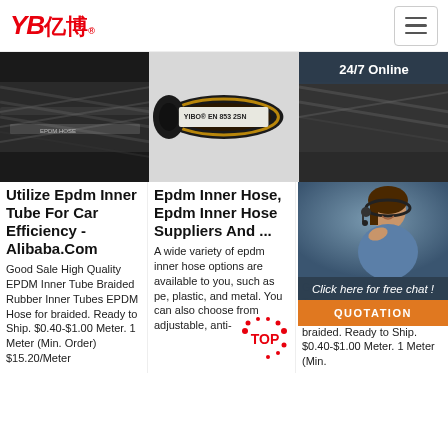[Figure (logo): YB亿博 logo in red italic]
[Figure (photo): Three product images: dark braided hose, EN 853 2SN hose with YIBO label, dark cable/hose]
Utilize Epdm Inner Tube For Car Efficiency - Alibaba.Com
Good Sale High Quality EPDM Inner Tube Braided Rubber Inner Tubes EPDM Hose for braided. Ready to Ship. $0.40-$1.00 Meter. 1 Meter (Min. Order) $15.20/Meter
Epdm Inner Hose, Epdm Inner Hose Suppliers And ...
A wide variety of epdm inner hose options are available to you, such as pe, plastic, and metal. You can also choose from adjustable, anti-
Uti Ho Ga Irri Ali
Goo Quality EPDM Inner Tube Braided Rubber Inner Tubes EPDM Hose for braided. Ready to Ship. $0.40-$1.00 Meter. 1 Meter (Min.
[Figure (infographic): 24/7 Online chat overlay with customer service person photo, 'Click here for free chat!' text, and orange QUOTATION button]